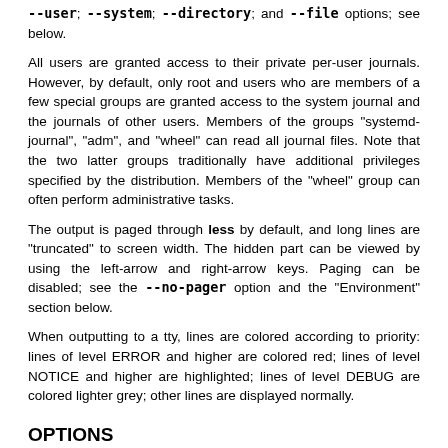--user, --system, --directory, and --file options; see below.
All users are granted access to their private per-user journals. However, by default, only root and users who are members of a few special groups are granted access to the system journal and the journals of other users. Members of the groups "systemd-journal", "adm", and "wheel" can read all journal files. Note that the two latter groups traditionally have additional privileges specified by the distribution. Members of the "wheel" group can often perform administrative tasks.
The output is paged through less by default, and long lines are "truncated" to screen width. The hidden part can be viewed by using the left-arrow and right-arrow keys. Paging can be disabled; see the --no-pager option and the "Environment" section below.
When outputting to a tty, lines are colored according to priority: lines of level ERROR and higher are colored red; lines of level NOTICE and higher are highlighted; lines of level DEBUG are colored lighter grey; other lines are displayed normally.
OPTIONS
The following options are understood:
--no-full, --full, -l